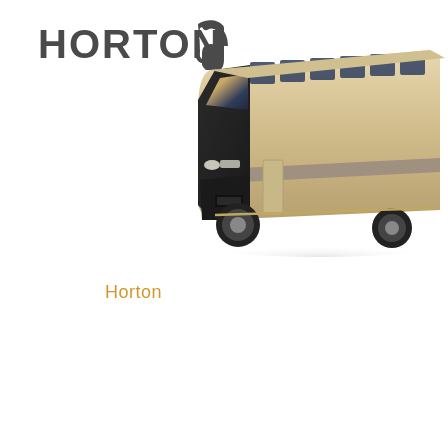[Figure (logo): HORTON brand logo in bold dark gray/charcoal block letters with a stylized 'n' or hook shape to the right of the text]
[Figure (photo): A large modern coach bus (cream/beige/gold color) photographed at a three-quarter front angle, showing the front windshield reflecting a cityscape at dusk/golden hour, with the bus extending to the right showing its full side profile with tinted windows]
Horton